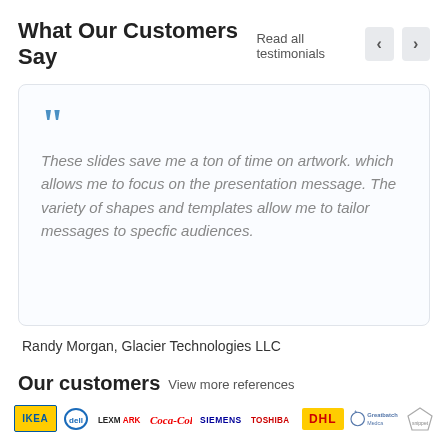What Our Customers Say  Read all testimonials
These slides save me a ton of time on artwork. which allows me to focus on the presentation message. The variety of shapes and templates allow me to tailor messages to specfic audiences.
Randy Morgan, Glacier Technologies LLC
Our customers  View more references
[Figure (logo): Row of customer logos: IKEA, Dell, Lexmark, Coca-Cola, Siemens, Toshiba, DHL, Greatbatch Medica, and one more logo]